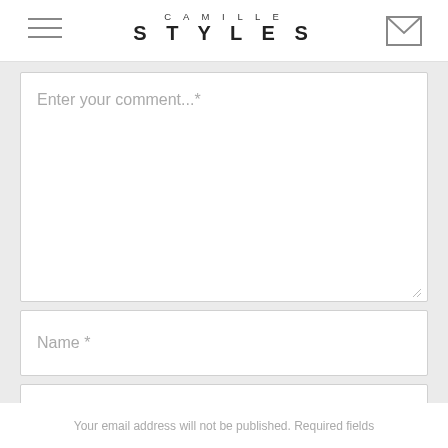CAMILLE STYLES
Enter your comment...*
Name *
Email *
Your email address will not be published. Required fields